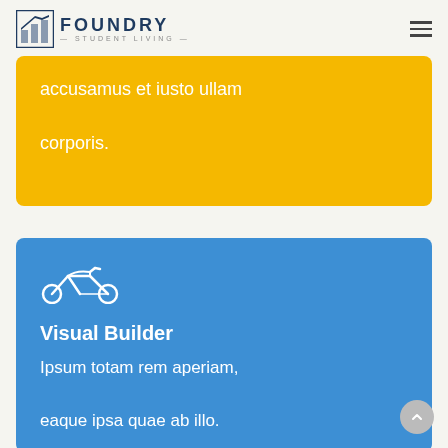FOUNDRY STUDENT LIVING
accusamus et iusto ullam corporis.
[Figure (illustration): Motorcycle icon (outline style) in white on blue background]
Visual Builder
Ipsum totam rem aperiam, eaque ipsa quae ab illo.